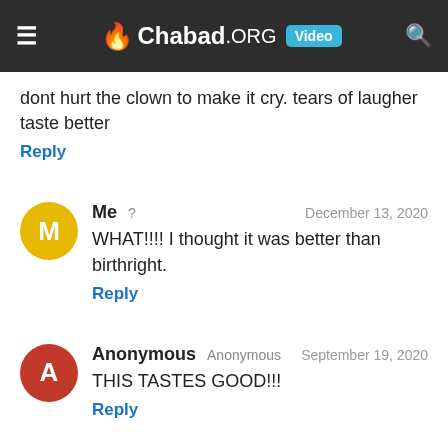Chabad.ORG Video
dont hurt the clown to make it cry. tears of laugher taste better
Reply
Me ? December 13, 2020
WHAT!!!! I thought it was better than birthright.
Reply
Anonymous Anonymous September 19, 2020
THIS TASTES GOOD!!!
Reply
Anonymous monsey,NY September 13, 2019